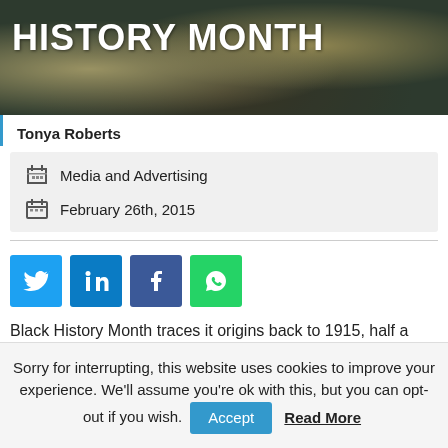[Figure (photo): Dark banner image with text 'HISTORY MONTH' in large white bold letters, with historical figure portraits in the background]
Tonya Roberts
Media and Advertising
February 26th, 2015
[Figure (infographic): Social share buttons: Twitter (blue), LinkedIn (blue), Facebook (dark blue), WhatsApp (green)]
Black History Month traces it origins back to 1915, half a century after the 13th Amendment abolished slavery in the
Sorry for interrupting, this website uses cookies to improve your experience. We'll assume you're ok with this, but you can opt-out if you wish. Accept Read More